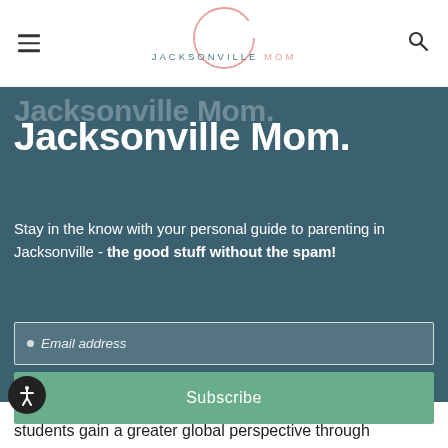JACKSONVILLE MOM
Jacksonville Mom.
Stay in the know with your personal guide to parenting in Jacksonville - the good stuff without the spam!
Email address
Subscribe
vision to succeed in an ever changing world. GOCA students gain a greater global perspective through